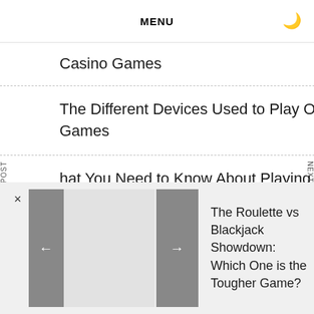MENU
Casino Games
The Different Devices Used to Play Online Casino Games
What You Need to Know About Playing Online Casino Games
Archives
The Roulette vs Blackjack Showdown: Which One is the Tougher Game?